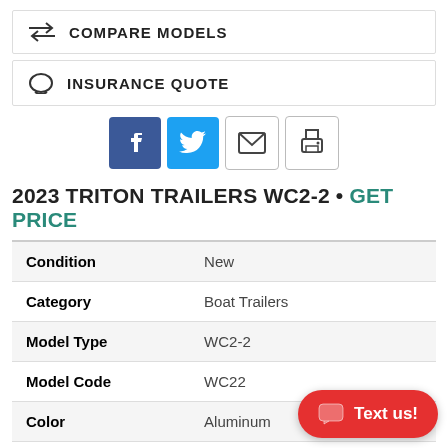COMPARE MODELS
INSURANCE QUOTE
[Figure (other): Social sharing icons: Facebook, Twitter, Email, Print]
2023 TRITON TRAILERS WC2-2 • GET PRICE
| Condition | New |
| Category | Boat Trailers |
| Model Type | WC2-2 |
| Model Code | WC22 |
| Color | Aluminum |